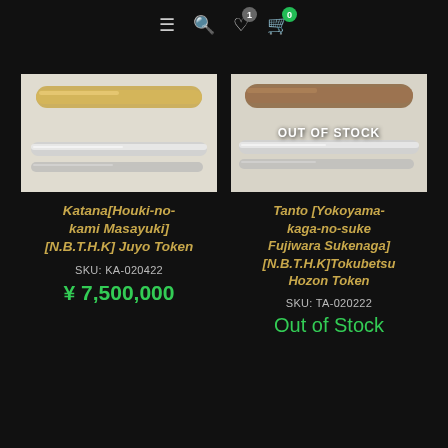Navigation bar with menu, search, wishlist (1), cart (0) icons
[Figure (photo): Katana sword displayed on white/light background, two views: one with golden/tan saya (scabbard) on top, one showing bare blade below]
Katana[Houki-no-kami Masayuki] [N.B.T.H.K] Juyo Token
SKU: KA-020422
¥ 7,500,000
[Figure (photo): Tanto sword displayed on white/light background with OUT OF STOCK overlay, two views: one with brown wooden saya on top, one showing bare blade below]
Tanto [Yokoyama-kaga-no-suke Fujiwara Sukenaga] [N.B.T.H.K]Tokubetsu Hozon Token
SKU: TA-020222
Out of Stock